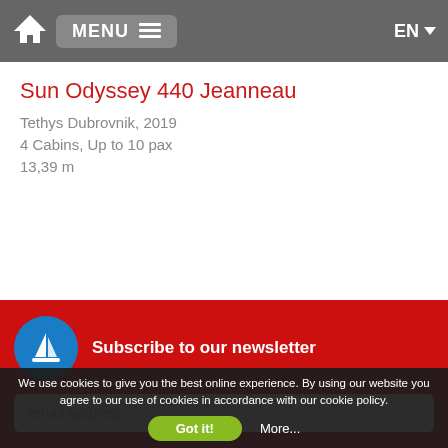MENU | EN
Sun Odyssey 440 Jeanneau
Tethys Dubrovnik, 2019
4 Cabins, Up to 10 pax
13,39 m
Subscribe to our newsletter
email address
We use cookies to give you the best online experience. By using our website you agree to our use of cookies in accordance with our cookie policy.
Got it!
More...